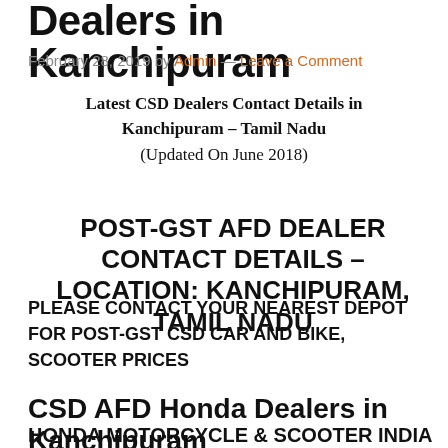Dealers in Kanchipuram
February 28, 2019 by Admin — Leave a Comment
Latest CSD Dealers Contact Details in Kanchipuram – Tamil Nadu
(Updated On June 2018)
POST-GST AFD DEALER CONTACT DETAILS – LOCATION: KANCHIPURAM, TAMIL NADU
PLEASE CONTACT YOUR NEAREST DEPOT FOR POST-GST CSD CAR AND BIKE, SCOOTER PRICES
CSD AFD Honda Dealers in Kanchipuram
HONDA MOTORCYCLE & SCOOTER INDIA